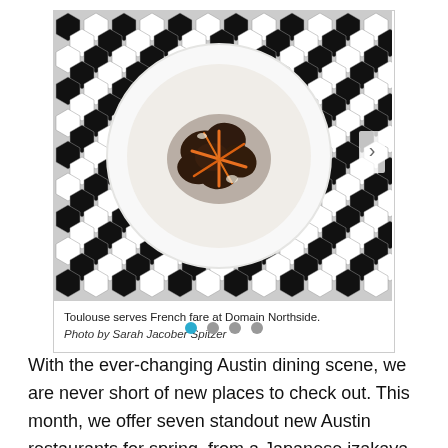[Figure (photo): Overhead photo of a white bowl containing dark braised meat garnished with orange julienned vegetables, placed on a black and white hexagonal tile surface. A navigation arrow is visible on the right side of the image.]
Toulouse serves French fare at Domain Northside. Photo by Sarah Jacober Spitzer
With the ever-changing Austin dining scene, we are never short of new places to check out. This month, we offer seven standout new Austin restaurants for spring, from a Japanese izakaya to a classic French bistro and an offbeat